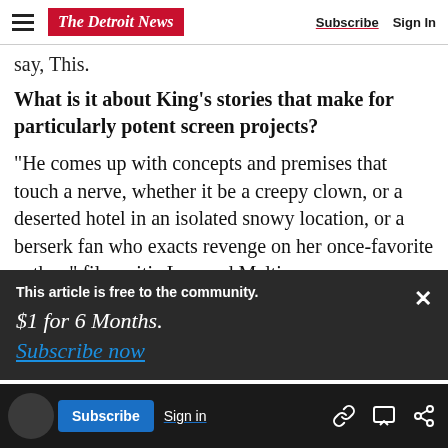The Detroit News | Subscribe | Sign In
say, This.
What is it about King's stories that make for particularly potent screen projects?
“He comes up with concepts and premises that touch a nerve, whether it be a creepy clown, or a deserted hotel in an isolated snowy location, or a berserk fan who exacts revenge on her once-favorite author,” film critic Leonard Maltin
ull Dark, No Stars.”
This article is free to the community.
$1 for 6 Months.
Subscribe now